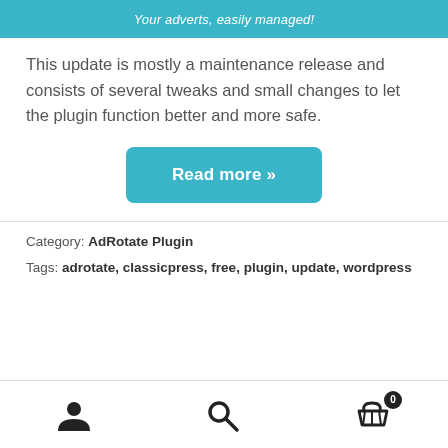[Figure (other): Teal/cyan banner with italic text 'Your adverts, easily managed!']
This update is mostly a maintenance release and consists of several tweaks and small changes to let the plugin function better and more safe.
[Figure (other): Teal 'Read more »' button]
Category: AdRotate Plugin
Tags: adrotate, classicpress, free, plugin, update, wordpress
[Figure (other): Page footer navigation bar with user icon, search icon, and cart icon with badge '0']